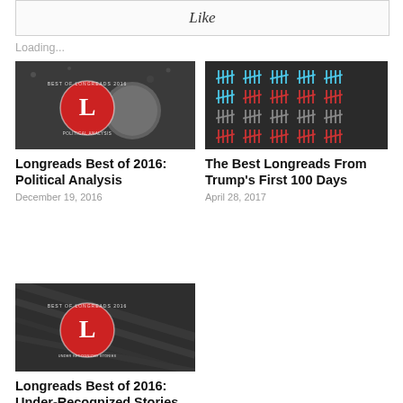Like
Loading...
[Figure (photo): Longreads Best of 2016 Political Analysis badge — red L circle logo with seal, dark background]
Longreads Best of 2016: Political Analysis
December 19, 2016
[Figure (photo): Tally marks in blue, red, and black on dark background — The Best Longreads From Trump's First 100 Days]
The Best Longreads From Trump's First 100 Days
April 28, 2017
[Figure (photo): Longreads Best of 2016 Under-Recognized Stories badge — red L circle logo, dark diagonal wood background]
Longreads Best of 2016: Under-Recognized Stories